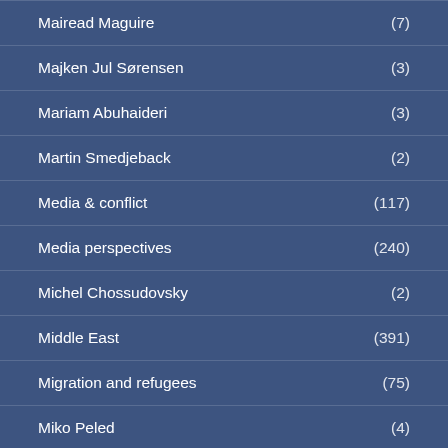Mairead Maguire (7)
Majken Jul Sørensen (3)
Mariam Abuhaideri (3)
Martin Smedjeback (2)
Media & conflict (117)
Media perspectives (240)
Michel Chossudovsky (2)
Middle East (391)
Migration and refugees (75)
Miko Peled (4)